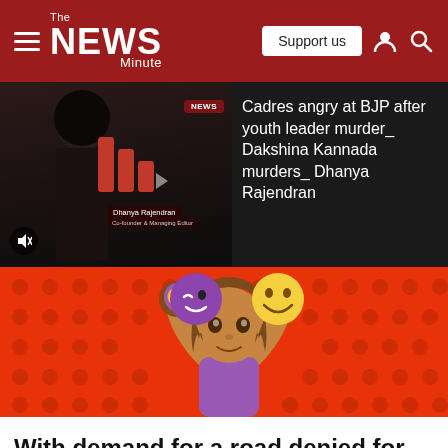The News Minute — Support us
[Figure (screenshot): Video thumbnail showing a woman with TNM play button overlay and red TNM arrows, with 'Dhanya Rajendran' name label and mute icon]
Cadres angry at BJP after youth leader murder_ Dakshina Kannada murders_ Dhanya Rajendran
[Figure (illustration): Illustration of a woman emoji with brown skin holding up a purple winking face emoji and a yellow smiling face emoji on a red dotted background]
With demand for a road denied for decades, Kerala tribals decided to carve a path